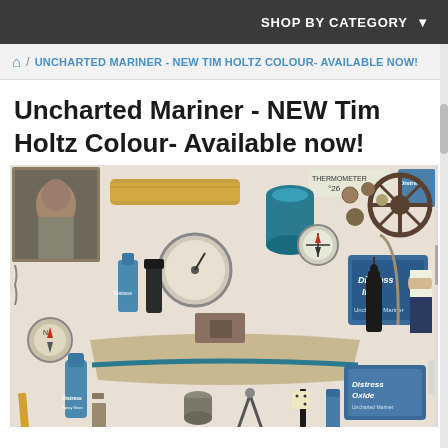SHOP BY CATEGORY ▼
🏠 / UNCHARTED MARINER - NEW TIM HOLTZ COLOUR- AVAILABLE NOW!
Uncharted Mariner - NEW Tim Holtz Colour- Available now!
[Figure (photo): Flat lay product photo showcasing Tim Holtz Uncharted Mariner colour products including Distress Ink pads, Distress Oxide ink pads, spray bottles, thread spools, and various nautical themed objects like a toy ship, compass, ship wheel, and vintage tools arranged on a white background.]